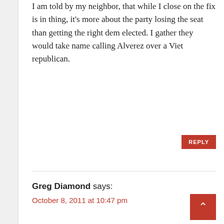I am told by my neighbor, that while I close on the fix is in thing, it's more about the party losing the seat than getting the right dem elected. I gather they would take name calling Alverez over a Viet republican.
REPLY
Greg Diamond says:
October 8, 2011 at 10:47 pm
Hmm, the Failur...